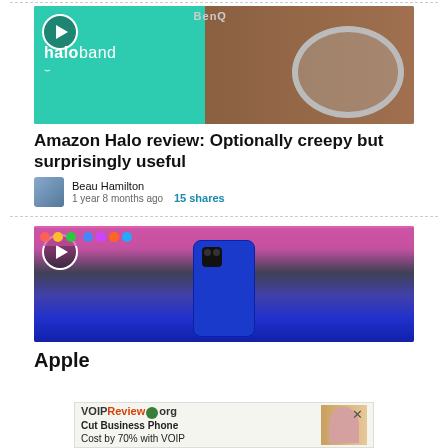[Figure (photo): Amazon Halo band product photo - split image showing teal packaging on left and wearable band on wooden surface on right, with play button overlay]
Amazon Halo review: Optionally creepy but surprisingly useful
Beau Hamilton
1 year 8 months ago   15 shares
[Figure (photo): Apple iPhone 12 in blue color photographed against a Mac desktop with colorful dock visible, with play button overlay]
Apple
[Figure (photo): Advertisement banner: VOIPReview.org - Cut Business Phone Cost by 70% with VOIP, with woman photo]